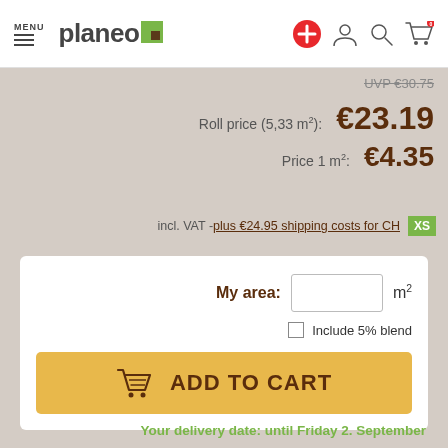MENU | planeo | navigation icons (plus, person, search, cart)
UVP €30.75
Roll price (5,33 m²): €23.19
Price 1 m²: €4.35
incl. VAT - plus €24.95 shipping costs for CH XS
My area: [input] m²
☐ Include 5% blend
ADD TO CART
Your delivery date: until Friday 2. September